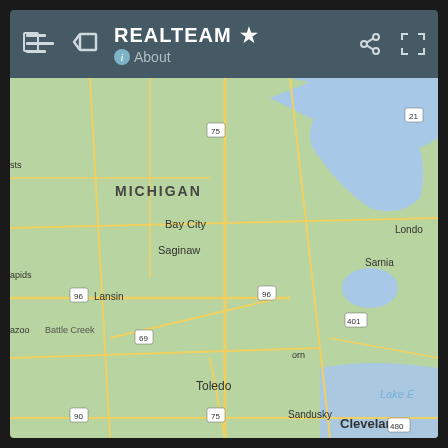REALTEAM ★ About
[Figure (map): Google Maps screenshot showing Michigan, USA with numerous red map pin markers clustered densely around the Detroit metro area and southeastern Michigan, extending toward Saginaw, Lansing, Battle Creek, and Toledo. Cities labeled include MICHIGAN, Bay City, Saginaw, Lansing, Battle Creek, Toledo, Sandusky, Cleveland, Sarnia, London. Highway markers visible: 75, 96, 69, 90, 21, 401, 480. Lake Erie visible at bottom right.]